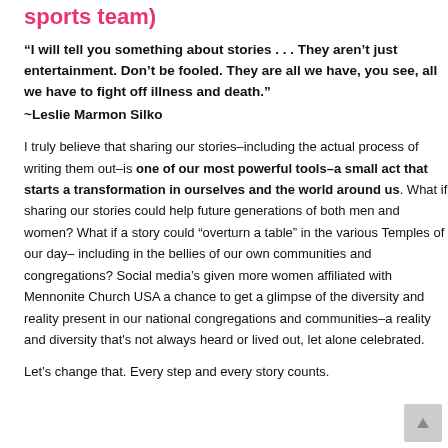sports team)
“I will tell you something about stories . . . They aren’t just entertainment. Don’t be fooled. They are all we have, you see, all we have to fight off illness and death.”
~Leslie Marmon Silko
I truly believe that sharing our stories–including the actual process of writing them out–is one of our most powerful tools–a small act that starts a transformation in ourselves and the world around us. What if sharing our stories could help future generations of both men and women? What if a story could “overturn a table” in the various Temples of our day– including in the bellies of our own communities and congregations? Social media’s given more women affiliated with Mennonite Church USA a chance to get a glimpse of the diversity and reality present in our national congregations and communities–a reality and diversity that's not always heard or lived out, let alone celebrated.
Let’s change that. Every step and every story counts.